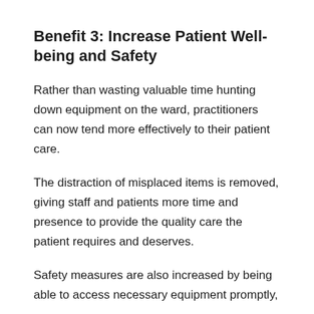Benefit 3: Increase Patient Well-being and Safety
Rather than wasting valuable time hunting down equipment on the ward, practitioners can now tend more effectively to their patient care.
The distraction of misplaced items is removed, giving staff and patients more time and presence to provide the quality care the patient requires and deserves.
Safety measures are also increased by being able to access necessary equipment promptly,